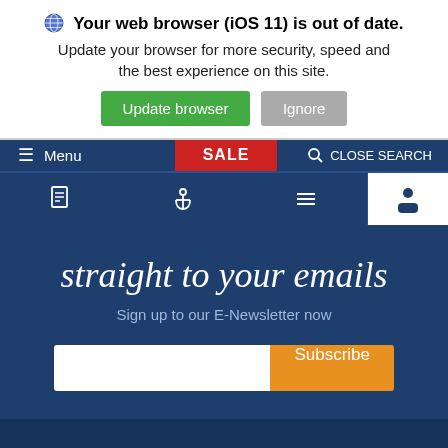Your web browser (iOS 11) is out of date. Update your browser for more security, speed and the best experience on this site.
Update browser
Ignore
Menu
SALE
CLOSE SEARCH
straight to your emails
Sign up to our E-Newsletter now
Subscribe